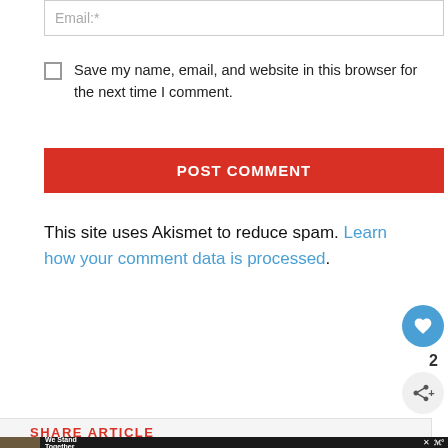Email:*
Save my name, email, and website in this browser for the next time I comment.
POST COMMENT
This site uses Akismet to reduce spam. Learn how your comment data is processed.
2
SHARE ARTICLE
[Figure (screenshot): Advertisement banner: We Stand Together with group photo]